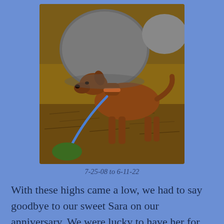[Figure (photo): A brown dog on a leash standing on rocky ground with large boulders in the background, outdoors in natural light]
7-25-08 to 6-11-22
With these highs came a low, we had to say goodbye to our sweet Sara on our anniversary. We were lucky to have her for thirteen and half years, but it was time to let her go to run in the forest with Hermie, who we lost three years